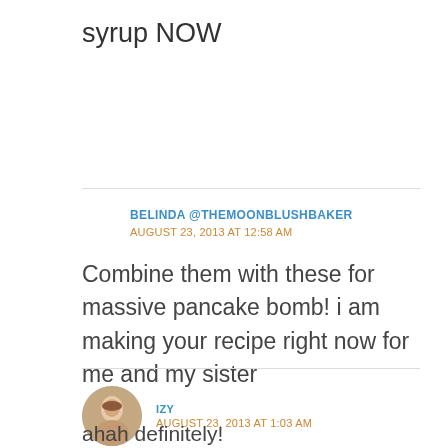syrup NOW
BELINDA @THEMOONBLUSHBAKER
AUGUST 23, 2013 AT 12:58 AM
Combine them with these for massive pancake bomb! i am making your recipe right now for me and my sister
IZY
AUGUST 23, 2013 AT 1:03 AM
ahah definitely!